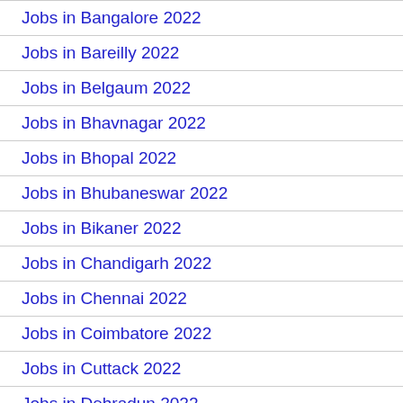Jobs in Bangalore 2022
Jobs in Bareilly 2022
Jobs in Belgaum 2022
Jobs in Bhavnagar 2022
Jobs in Bhopal 2022
Jobs in Bhubaneswar 2022
Jobs in Bikaner 2022
Jobs in Chandigarh 2022
Jobs in Chennai 2022
Jobs in Coimbatore 2022
Jobs in Cuttack 2022
Jobs in Dehradun 2022
Jobs in Delhi 2022